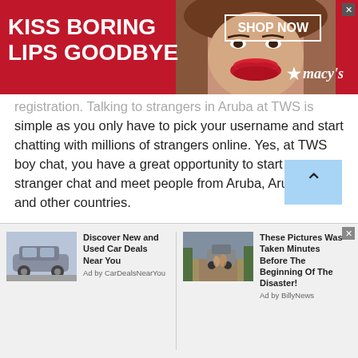[Figure (advertisement): Macy's lip product advertisement with 'KISS BORING LIPS GOODBYE' headline, woman's face with red lips in center, SHOP NOW button and Macy's star logo on right, red background]
registration. Talking to strangers in Aruba at TWS is simple as you only have to pick your username and start chatting with millions of strangers online. Yes, at TWS boy chat, you have a great opportunity to start a stranger chat and meet people from Aruba, Aruba, Asia and other countries.
One-to-one private boys chat helps boys to spend a great time with their friends and family. They can choose to talk to strangers in Aruba on their favorite topics and have a healthy discussion without
[Figure (advertisement): Two bottom ad units: left shows a car with 'Discover New and Used Car Deals Near You' by CarDealsNearYou; right shows a truck/vehicle on a road with 'These Pictures Was Taken Minutes Before The Beginning Of The Disaster!' by BillyNews]